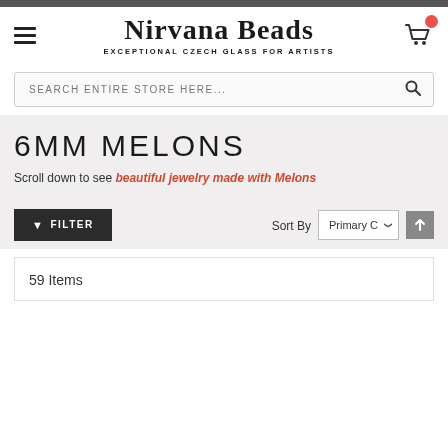[Figure (logo): Nirvana Beads logo with hamburger menu icon, cart icon with red badge]
SEARCH ENTIRE STORE HERE...
6MM MELONS
Scroll down to see beautiful jewelry made with Melons
FILTER
Sort By  Primary C
59 Items